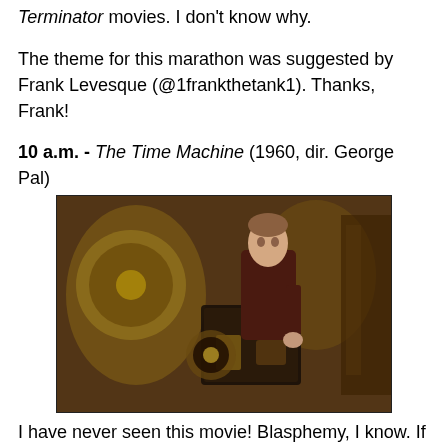Terminator movies. I don't know why.
The theme for this marathon was suggested by Frank Levesque (@1frankthetank1). Thanks, Frank!
10 a.m. - The Time Machine (1960, dir. George Pal)
[Figure (photo): A man in a Victorian-era outfit sitting beside an ornate steampunk time machine with gears and brass fittings.]
I have never seen this movie! Blasphemy, I know. If it helps, I have seen the Guy Pearce remake from 2002 (it does not help) and grew up watching the 1978 made-for-TV version about which I remember very little except that Priscilla Barnes played a woman named Weena. Oh, the things we retain from our youth. At any rate, I'm a fan of George Pal and have always wanted to see his adaptation of H.G. Wells' classic, so I like the idea of starting off with maybe the